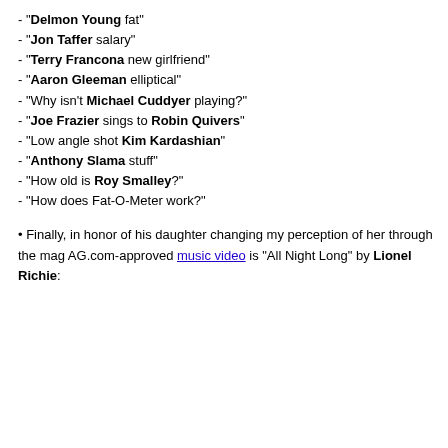- "Delmon Young fat"
- "Jon Taffer salary"
- "Terry Francona new girlfriend"
- "Aaron Gleeman elliptical"
- "Why isn't Michael Cuddyer playing?"
- "Joe Frazier sings to Robin Quivers"
- "Low angle shot Kim Kardashian"
- "Anthony Slama stuff"
- "How old is Roy Smalley?"
- "How does Fat-O-Meter work?"
• Finally, in honor of his daughter changing my perception of her through the mag AG.com-approved music video is "All Night Long" by Lionel Richie: